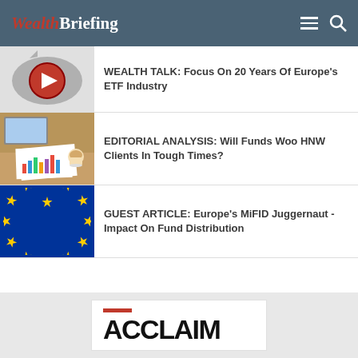WealthBriefing
WEALTH TALK: Focus On 20 Years Of Europe's ETF Industry
EDITORIAL ANALYSIS: Will Funds Woo HNW Clients In Tough Times?
GUEST ARTICLE: Europe's MiFID Juggernaut - Impact On Fund Distribution
[Figure (logo): ACCLAIM logo with red bar above text]